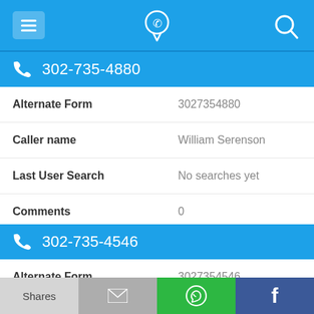[Figure (screenshot): Mobile app top navigation bar with hamburger menu icon, phone-location pin icon in center, and search icon on right, all on blue background]
302-735-4880
| Alternate Form | 3027354880 |
| Caller name | William Serenson |
| Last User Search | No searches yet |
| Comments | 0 |
302-735-4546
| Alternate Form | 3027354546 |
[Figure (screenshot): Bottom share bar with four buttons: Shares (light gray), email icon (gray), WhatsApp icon (green), Facebook icon (dark blue)]